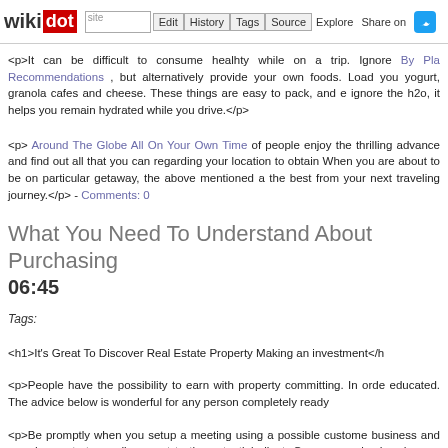wikidot | site | Edit | History | Tags | Source | Explore | Share on [Twitter]
<p>It can be difficult to consume healhty while on a trip. Ignore By Pla Recommendations , but alternatively provide your own foods. Load you yogurt, granola cafes and cheese. These things are easy to pack, and e ignore the h2o, it helps you remain hydrated while you drive.</p>
<p> Around The Globe All On Your Own Time of people enjoy the thrilling advance and find out all that you can regarding your location to obtain When you are about to be on particular getaway, the above mentioned a the best from your next traveling journey.</p> - Comments: 0
What You Need To Understand About Purchasing
06:45
Tags:
<h1>It's Great To Discover Real Estate Property Making an investment</h1>
<p>People have the possibility to earn with property committing. In orde educated. The advice below is wonderful for any person completely ready
<p>Be promptly when you setup a meeting using a possible custome business and can demonstrate no disrespect to the potential client. Co unorganized and never cherish your customers, that will lead you to lose
<p>Have a feel from the values of attributes around yours. Mortgage supplying advice about house beliefs. Experiencing the way the area is with regards to a property.</p>